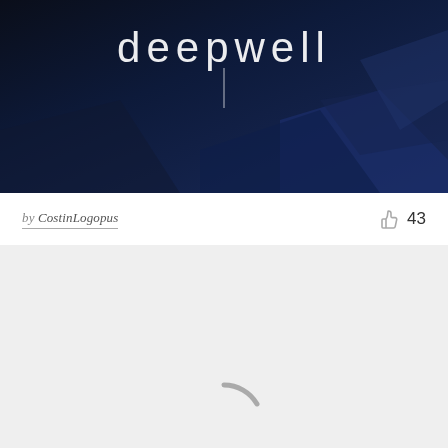[Figure (illustration): Dark navy blue abstract artwork with geometric polygon shapes and the word 'deepwell' in thin white sans-serif letters at the top center, with a vertical line below the text]
by CostinLogopus  👍 43
[Figure (screenshot): Light gray loading placeholder with a dark gray spinning/loading indicator arc at the bottom center]